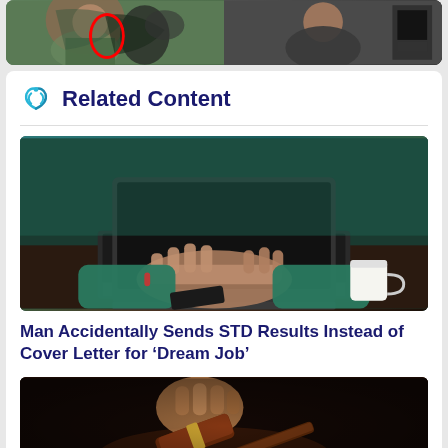[Figure (photo): Top portion of a video thumbnail showing two bearded men sitting in front of microphones/recording equipment. A red circular arc is visible between them.]
Related Content
[Figure (photo): Person wearing a teal/green long-sleeve shirt typing on a laptop keyboard. A smartphone and a white coffee cup are visible on the dark wooden desk.]
Man Accidentally Sends STD Results Instead of Cover Letter for ‘Dream Job’
[Figure (photo): Close-up of a hand holding a wooden gavel about to strike a sound block, photographed against a dark background.]